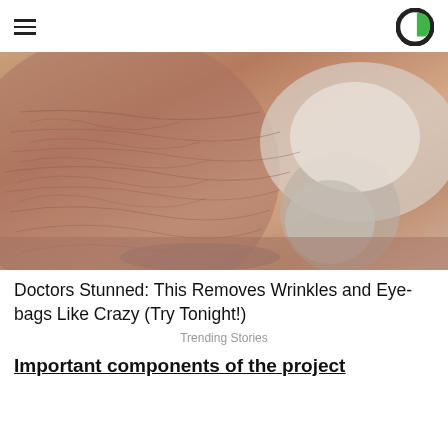≡  [logo]
[Figure (photo): Close-up photo of an elderly person's face showing wrinkled and dry skin texture, with white/cream substance applied on parts of the cheek and nose area.]
Doctors Stunned: This Removes Wrinkles and Eye-bags Like Crazy (Try Tonight!)
Trending Stories
Important components of the project